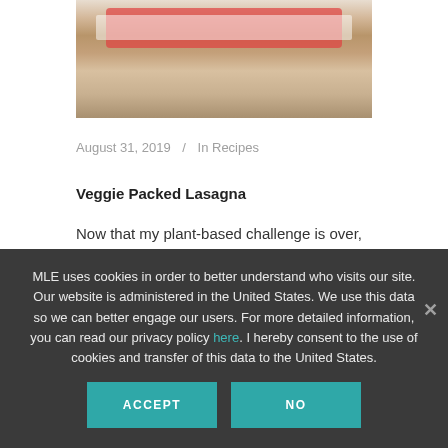[Figure (photo): Top portion of a food photo showing lasagna or similar baked dish with melted cheese and red tomato sauce on a white surface]
August 31, 2019  /  In Recipes
Veggie Packed Lasagna
Now that my plant-based challenge is over, I'm convinced that the increase in veggies in my diet was a very good thing!  My skin seemed nicer and my mood a bit more light-hearted – not
MLE uses cookies in order to better understand who visits our site. Our website is administered in the United States. We use this data so we can better engage our users. For more detailed information, you can read our privacy policy here. I hereby consent to the use of cookies and transfer of this data to the United States.